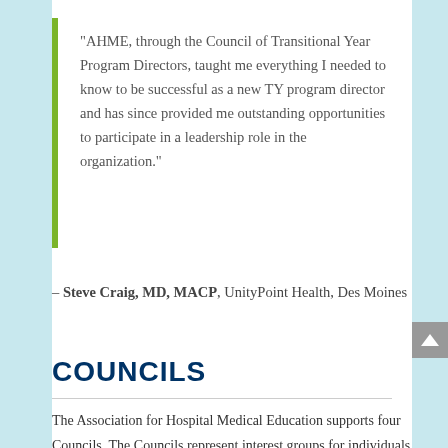"AHME, through the Council of Transitional Year Program Directors, taught me everything I needed to know to be successful as a new TY program director and has since provided me outstanding opportunities to participate in a leadership role in the organization."
– Steve Craig, MD, MACP, UnityPoint Health, Des Moines
COUNCILS
The Association for Hospital Medical Education supports four Councils. The Councils represent interest groups for individuals with a similar professional role that involves a